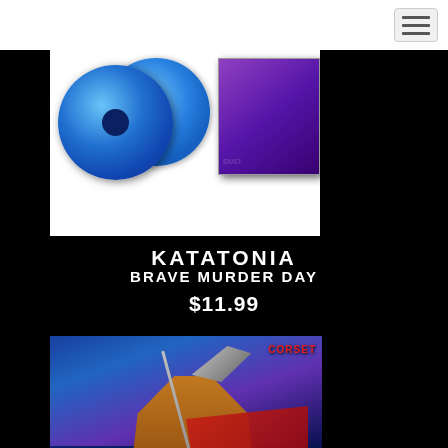[Figure (photo): Katatonia Brave Murder Day album product image showing blue vinyl records and purple CD cover on white background]
KATATONIA
BRAVE MURDER DAY
$11.99
[Figure (photo): Second album product showing fantasy warrior with scythe artwork on CD box, with red cape and blue sky background, Comet or similar band logo in red at top right]